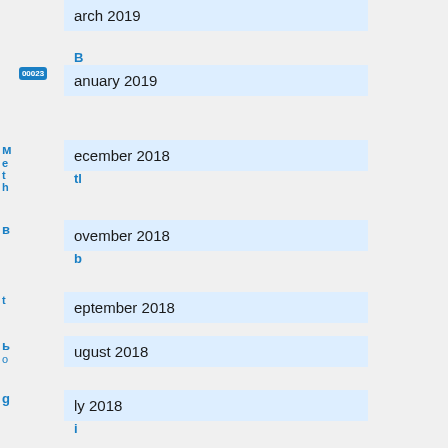arch 2019
B anuary 2019
M ecember 2018 tl
B ovember 2018 b
September 2018
b ugust 2018 o
g ly 2018 i
n ay 2018
ebruary 2018
January 2018